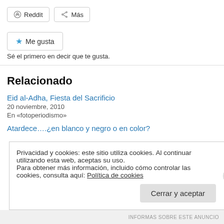[Figure (other): Reddit and Más share buttons]
[Figure (other): Me gusta (Like) button with star icon]
Sé el primero en decir que te gusta.
Relacionado
Eid al-Adha, Fiesta del Sacrificio
20 noviembre, 2010
En «fotoperiodismo»
Atardece….¿en blanco y negro o en color?
Privacidad y cookies: este sitio utiliza cookies. Al continuar utilizando esta web, aceptas su uso.
Para obtener más información, incluido cómo controlar las cookies, consulta aquí: Política de cookies
INFORMAS SOBRE ESTE ANUNCIO